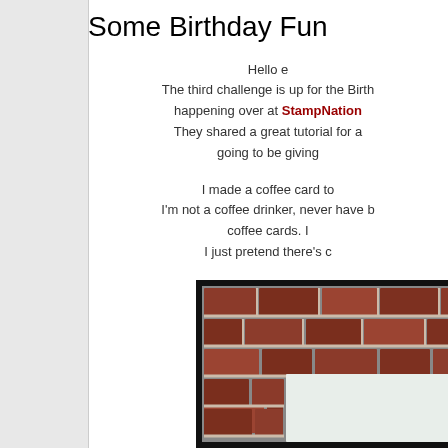Some Birthday Fun
Hello e
The third challenge is up for the Birth
happening over at StampNation
They shared a great tutorial for a
going to be giving
I made a coffee card to
I'm not a coffee drinker, never have b
coffee cards. I
I just pretend there's c
[Figure (photo): A photograph showing a birthday card with a brick wall background and a white card or paper in the foreground]